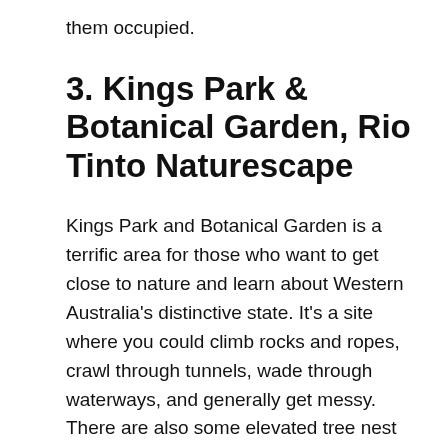them occupied.
3. Kings Park & Botanical Garden, Rio Tinto Naturescape
Kings Park and Botanical Garden is a terrific area for those who want to get close to nature and learn about Western Australia's distinctive state. It's a site where you could climb rocks and ropes, crawl through tunnels, wade through waterways, and generally get messy. There are also some elevated tree nest lookouts where you can climb to get a better perspective of the area.
This is not your conventional playground with built-in play equipment and picnic spaces; instead, it is a